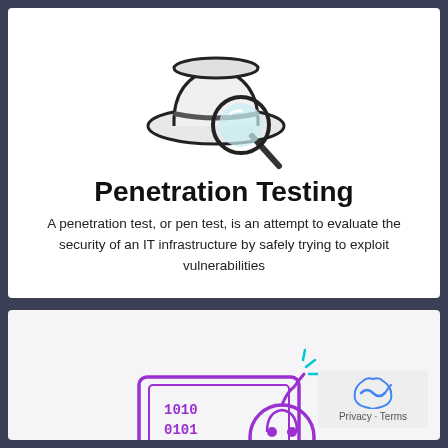[Figure (illustration): A white fedora hat with a dark band, with a magnifying glass overlaid on the brim, drawn in outline style]
Penetration Testing
A penetration test, or pen test, is an attempt to evaluate the security of an IT infrastructure by safely trying to exploit vulnerabilities
[Figure (illustration): A computer monitor displaying binary code (1010 0101) with a cartoon bomb featuring a skull and crossbones, and cyan spark lines, drawn in purple and cyan outline style]